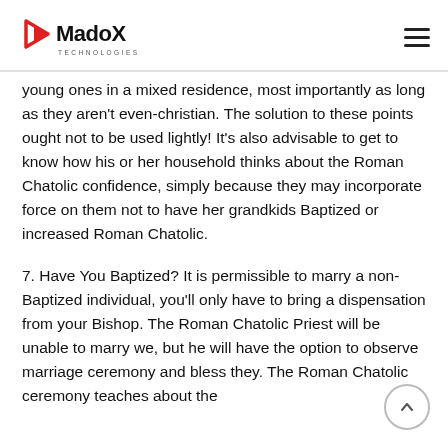MadoX Technologies
young ones in a mixed residence, most importantly as long as they aren't even-christian. The solution to these points ought not to be used lightly! It's also advisable to get to know how his or her household thinks about the Roman Chatolic confidence, simply because they may incorporate force on them not to have her grandkids Baptized or increased Roman Chatolic.
7. Have You Baptized? It is permissible to marry a non-Baptized individual, you'll only have to bring a dispensation from your Bishop. The Roman Chatolic Priest will be unable to marry we, but he will have the option to observe marriage ceremony and bless they. The Roman Chatolic ceremony teaches about the